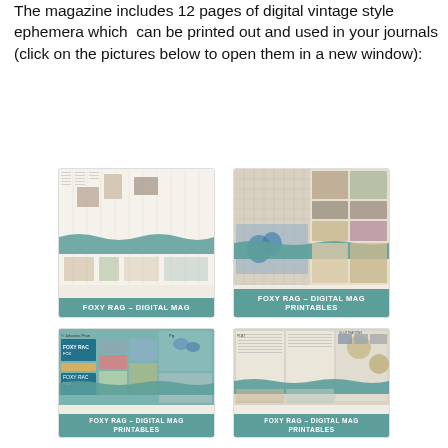The magazine includes 12 pages of digital vintage style ephemera which can be printed out and used in your journals (click on the pictures below to open them in a new window):
[Figure (illustration): Thumbnail of Foxy Rag Digital Mag cover - vintage newspaper columns layout with teal banner label]
[Figure (illustration): Thumbnail of Foxy Rag Digital Mag Printables cover - vintage ephemera with botanical images and teal banner label]
[Figure (illustration): Thumbnail of Foxy Rag Digital Mag Printables cover - teal/green collage grid layout with teal banner label]
[Figure (illustration): Thumbnail of Foxy Rag Digital Mag Printables cover - vintage newspaper style with teal banner label]